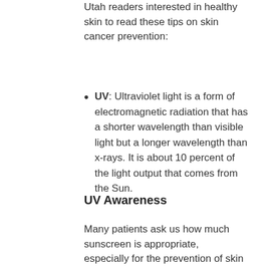Utah readers interested in healthy skin to read these tips on skin cancer prevention:
UV: Ultraviolet light is a form of electromagnetic radiation that has a shorter wavelength than visible light but a longer wavelength than x-rays. It is about 10 percent of the light output that comes from the Sun.
UV Awareness
Many patients ask us how much sunscreen is appropriate, especially for the prevention of skin cancer. Usually, if